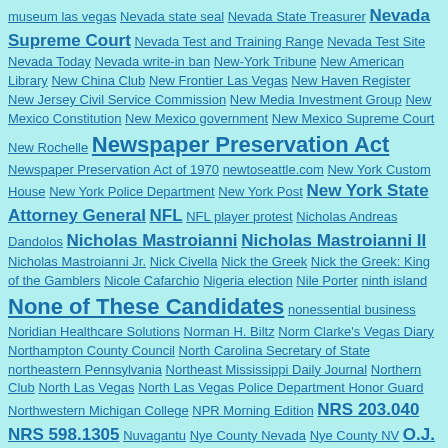museum las vegas Nevada state seal Nevada State Treasurer Nevada Supreme Court Nevada Test and Training Range Nevada Test Site Nevada Today Nevada write-in ban New-York Tribune New American Library New China Club New Frontier Las Vegas New Haven Register New Jersey Civil Service Commission New Media Investment Group New Mexico Constitution New Mexico government New Mexico Supreme Court New Rochelle Newspaper Preservation Act Newspaper Preservation Act of 1970 newtoseattle.com New York Custom House New York Police Department New York Post New York State Attorney General NFL NFL player protest Nicholas Andreas Dandolos Nicholas Mastroianni Nicholas Mastroianni II Nicholas Mastroianni Jr. Nick Civella Nick the Greek Nick the Greek: King of the Gamblers Nicole Cafarchio Nigeria election Nile Porter ninth island None of These Candidates nonessential business Noridian Healthcare Solutions Norman H. Biltz Norm Clarke's Vegas Diary Northampton County Council North Carolina Secretary of State northeastern Pennsylvania Northeast Mississippi Daily Journal Northern Club North Las Vegas North Las Vegas Police Department Honor Guard Northwestern Michigan College NPR Morning Edition NRS 203.040 NRS 598.1305 Nuvagantu Nye County Nevada Nye County NV O.J. Simpson Oakah L. Jones Oakland Raiders October 1 massacre October 1 massacre Las Vegas Office of Civil Marriages Offside: A Mystery Oklahoma State University Old Spanish Trail Oliver Hamilton Onondaga County District Attorney Orland Park Orville Write Oscar Goodman Outreach Calling Outreach Calling Reno Ovarian Cancer Awareness Initiative Ovarian Cancer Awareness Initiative PAC